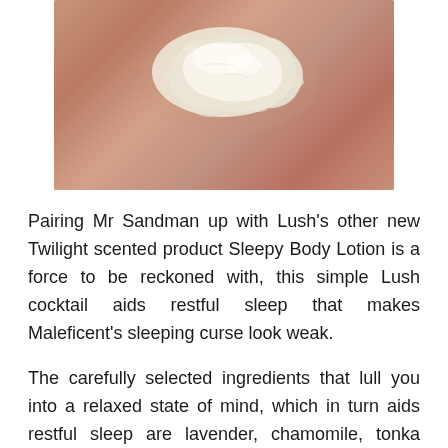[Figure (photo): Close-up photo of a hand or skin surface with white powder/product (Mr Sandman body powder) applied to it, showing dry flaky texture.]
Pairing Mr Sandman up with Lush’s other new Twilight scented product Sleepy Body Lotion is a force to be reckoned with, this simple Lush cocktail aids restful sleep that makes Maleficent’s sleeping curse look weak.
The carefully selected ingredients that lull you into a relaxed state of mind, which in turn aids restful sleep are lavender, chamomile, tonka absolute and ylang ylang. Although I can’t give Mr Sandman or Sleepy all of the credit, every time I have used them both together, I have been able to drop off to sleep much quicker and